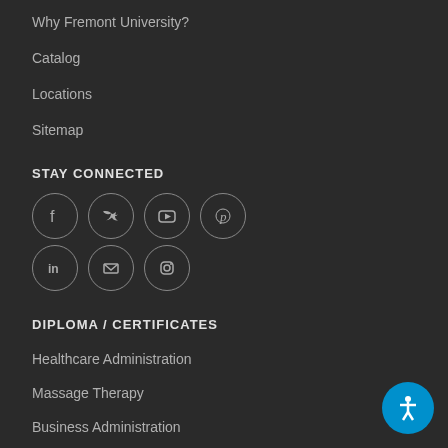Why Fremont University?
Catalog
Locations
Sitemap
STAY CONNECTED
[Figure (infographic): Social media icons in circles: Facebook, Twitter, YouTube, Pinterest, LinkedIn, Email, Instagram]
DIPLOMA / CERTIFICATES
Healthcare Administration
Massage Therapy
Business Administration
Medical Billing, Coding and Office Administration